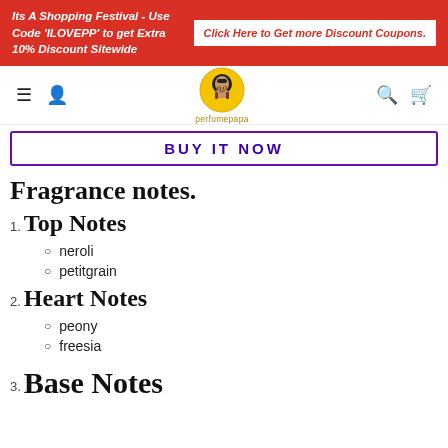Its A Shopping Festival - Use Code 'ILOVEPP' to get Extra 10% Discount Sitewide | Click Here to Get more Discount Coupons.
[Figure (logo): PerfumePapa logo — bearded man face in a yellow circle with text 'perfumepapa' below]
BUY IT NOW
Fragrance notes.
1. Top Notes
neroli
petitgrain
2. Heart Notes
peony
freesia
3. Base Notes